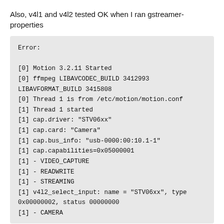Also, v4l1 and v4l2 tested OK when I ran gstreamer-properties
Error:

[0] Motion 3.2.11 Started
[0] ffmpeg LIBAVCODEC_BUILD 3412993 LIBAVFORMAT_BUILD 3415808
[0] Thread 1 is from /etc/motion/motion.conf
[1] Thread 1 started
[1] cap.driver: "STV06xx"
[1] cap.card: "Camera"
[1] cap.bus_info: "usb-0000:00:10.1-1"
[1] cap.capabilities=0x05000001
[1] - VIDEO_CAPTURE
[1] - READWRITE
[1] - STREAMING
[1] v4l2_select_input: name = "STV06xx", type 0x00000002, status 00000000
[1] - CAMERA